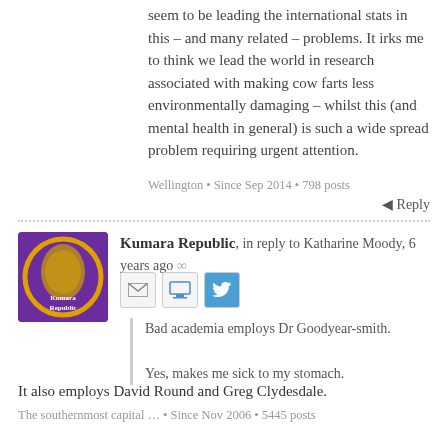seem to be leading the international stats in this – and many related – problems. It irks me to think we lead the world in research associated with making cow farts less environmentally damaging – whilst this (and mental health in general) is such a wide spread problem requiring urgent attention.
Wellington • Since Sep 2014 • 798 posts
Reply
Kumara Republic, in reply to Katharine Moody, 6 years ago ∞
Bad academia employs Dr Goodyear-smith.

Yes, makes me sick to my stomach.
It also employs David Round and Greg Clydesdale.
The southernmost capital ... • Since Nov 2006 • 5445 posts
Reply
linger, in reply to Katharine Moody, 6 years ago ∞